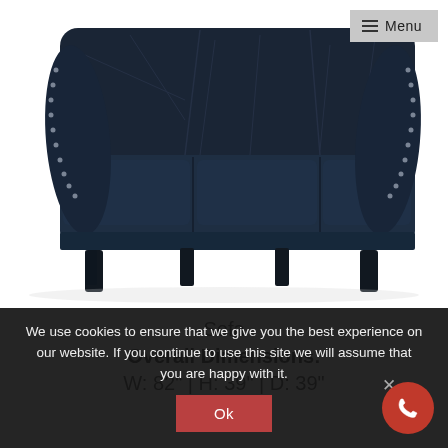[Figure (photo): Dark navy blue leather three-seat sofa with nailhead trim on the arms, tufted back cushions, and dark tapered wooden legs. Photographed against a white background.]
Menu
Sofa
Overall Dimensions:
W: 82" | H: 39" | D: 39"
We use cookies to ensure that we give you the best experience on our website. If you continue to use this site we will assume that you are happy with it.
Ok